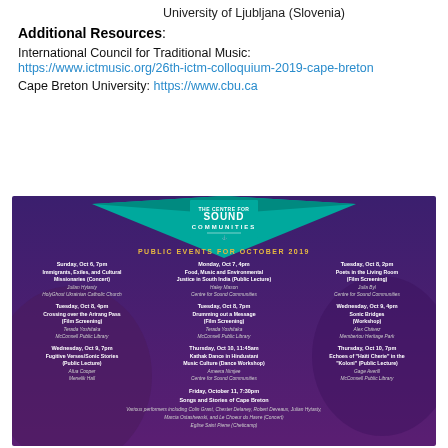University of Ljubljana (Slovenia)
Additional Resources:
International Council for Traditional Music:
https://www.ictmusic.org/26th-ictm-colloquium-2019-cape-breton
Cape Breton University: https://www.cbu.ca
[Figure (infographic): Event poster for 'The Centre for Sound Communities' listing Public Events for October 2019. Features a teal diamond logo at top, events listed in a 3-column grid including concerts, film screenings, workshops, and public lectures from Oct 6–11, 2019.]